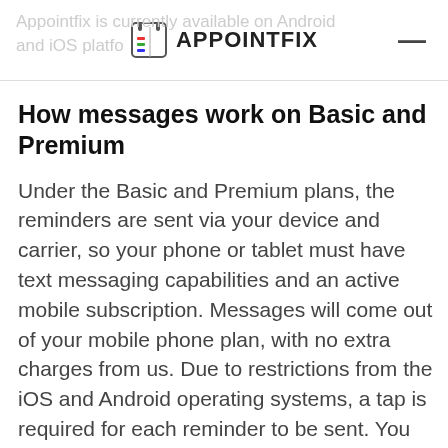APPOINTFIX
Appointfix is currently available on Android and iOS platforms
How messages work on Basic and Premium
Under the Basic and Premium plans, the reminders are sent via your device and carrier, so your phone or tablet must have text messaging capabilities and an active mobile subscription. Messages will come out of your mobile phone plan, with no extra charges from us. Due to restrictions from the iOS and Android operating systems, a tap is required for each reminder to be sent. You can receive a push notification each time you need to tap for sending an SMS reminder, or you can go to Menu → Messages each morning and send the reminders for the whole day. Under the Basic and Premium plans, text messages will come...